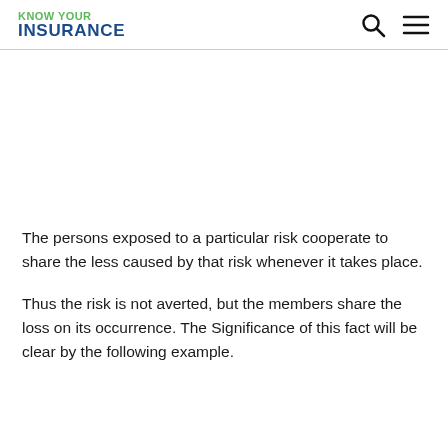KNOW YOUR INSURANCE
The persons exposed to a particular risk cooperate to share the less caused by that risk whenever it takes place.
Thus the risk is not averted, but the members share the loss on its occurrence. The Significance of this fact will be clear by the following example.